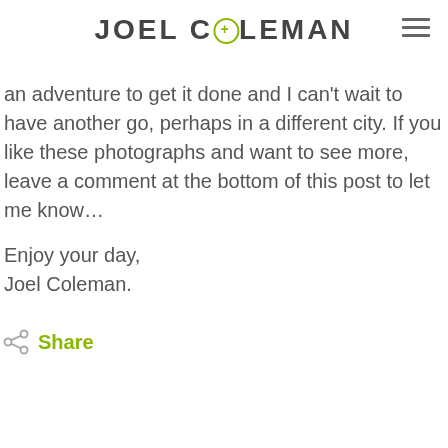JOEL COLEMAN
an adventure to get it done and I can't wait to have another go, perhaps in a different city. If you like these photographs and want to see more, leave a comment at the bottom of this post to let me know…

Enjoy your day,
Joel Coleman.
Share